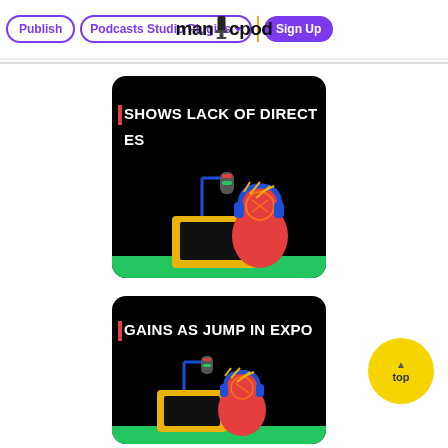Publish | Podcasts | Studio | Plugins | Sign Up | manjcpod
[Figure (illustration): Black card with white uppercase text 'SHOWS LACK OF DIRECT ES' and illustration of a cartoon character with headphones sitting at a laptop with a microphone, green ground strip at bottom]
[Figure (illustration): Black card with white uppercase text 'GAINS AS JUMP IN EXPO' and similar illustration of a cartoon character with headphones at a microphone]
[Figure (other): Yellow circle button with 'top' label]